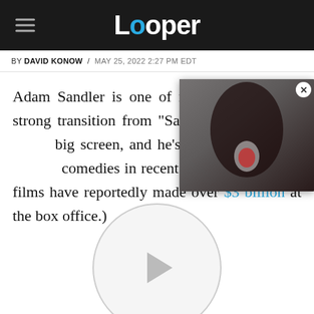Looper
BY DAVID KONOW / MAY 25, 2022 2:27 PM EDT
Adam Sandler is one of many who made a strong transition from "Saturday Night Live" to the big screen, and he's made some of the biggest comedies in recent decades. (Sandler's films have reportedly made over $3 billion at the box office.)
[Figure (screenshot): Video popup showing a figure in a black catwoman/leather mask costume, with a white play button overlay. A close button (X) appears in the top right corner.]
[Figure (other): Circular video player button with a play triangle, light gray border and background, positioned in the lower center of the page.]